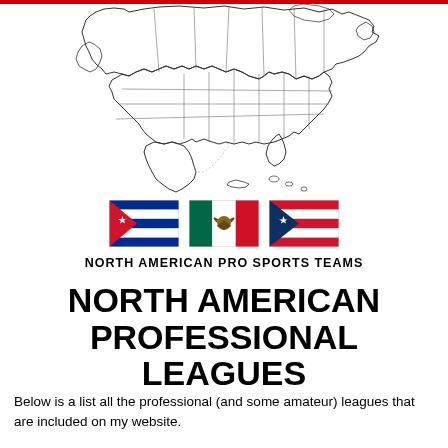[Figure (map): Outline map of North America showing US states, Canada provinces, and part of Mexico/Caribbean]
[Figure (infographic): Three national flags side by side: Cuba (blue/white stripes with red triangle and star), Mexico (green/white/red with eagle emblem), Puerto Rico (red/white stripes with blue triangle and star)]
NORTH AMERICAN PRO SPORTS TEAMS
NORTH AMERICAN PROFESSIONAL LEAGUES
Below is a list all the professional (and some amateur) leagues that are included on my website.